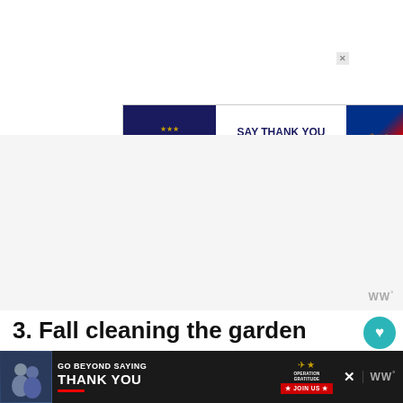[Figure (other): Operation Gratitude advertisement banner: 'Say Thank You to Deployed Troops' with logo, owl/military cartoon and American flag imagery]
[Figure (other): Large white/light gray content area placeholder with WW degrees logo bottom right]
3. Fall cleaning the garden
[Figure (photo): Photo of garden fall cleanup scene with leaves, branches, and foliage in autumn colors]
[Figure (other): Operation Gratitude bottom banner ad: 'Go Beyond Saying Thank You' with Join Us button, and WW logo on right]